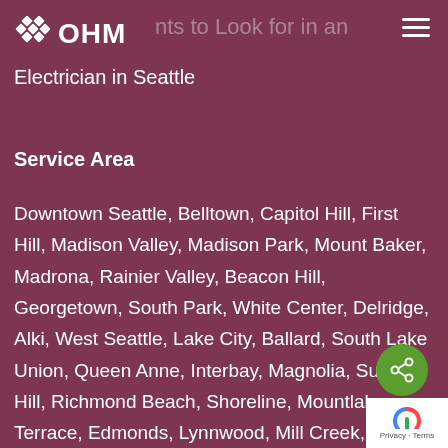OHM
Electrician in Seattle
Service Area
Downtown Seattle, Belltown, Capitol Hill, First Hill, Madison Valley, Madison Park, Mount Baker, Madrona, Rainier Valley, Beacon Hill, Georgetown, South Park, White Center, Delridge, Alki, West Seattle, Lake City, Ballard, South Lake Union, Queen Anne, Interbay, Magnolia, Sunset Hill, Richmond Beach, Shoreline, Mountlake Terrace, Edmonds, Lynnwood, Mill Creek, Kenmore, Bothel, Woodinville, Redmond, Monroe, Sammamish